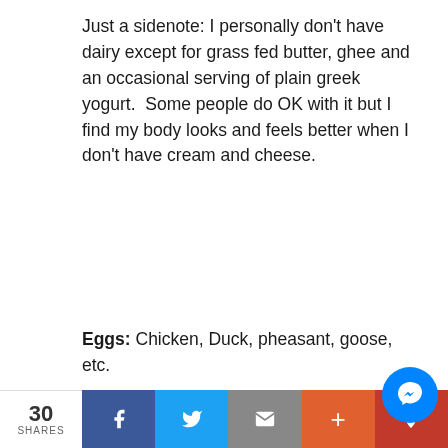Just a sidenote: I personally don't have dairy except for grass fed butter, ghee and an occasional serving of plain greek yogurt.  Some people do OK with it but I find my body looks and feels better when I don't have cream and cheese.
Eggs: Chicken, Duck, pheasant, goose, etc.
Vegetables:  Brussels sprouts, cucumber, zucchini, bok choi, carrots, artichokes, spinach, kale, squash…
30 SHARES | Facebook | Twitter | Email | + | Pinterest